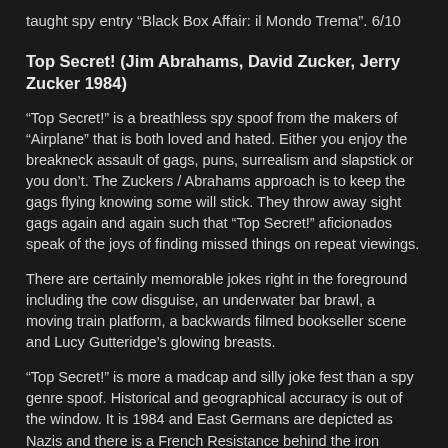taught spy entry “Black Box Affair: il Mondo Trema”. 6/10
Top Secret! (Jim Abrahams, David Zucker, Jerry Zucker 1984)
“Top Secret!” is a breathless spy spoof from the makers of “Airplane” that is both loved and hated. Either you enjoy the breakneck assault of gags, puns, surrealism and slapstick or you don’t. The Zuckers / Abrahams approach is to keep the gags flying knowing some will stick. They throw away sight gags again and again such that “Top Secret!” aficionados speak of the joys of finding missed things on repeat viewings.
There are certainly memorable jokes right in the foreground including the cow disguise, an underwater bar brawl, a moving train platform, a backwards filmed bookseller scene and Lucy Gutteridge’s glowing breasts.
“Top Secret!” is more a madcap and silly joke fest than a spy genre spoof. Historical and geographical accuracy is out of the window. It is 1984 and East Germans are depicted as Nazis and there is a French Resistance behind the iron curtain.